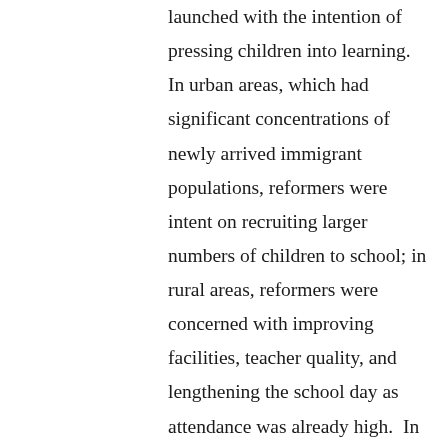launched with the intention of pressing children into learning. In urban areas, which had significant concentrations of newly arrived immigrant populations, reformers were intent on recruiting larger numbers of children to school; in rural areas, reformers were concerned with improving facilities, teacher quality, and lengthening the school day as attendance was already high. In both the urban and rural contexts, the school served as a liaison for adaptation. Communities in both the city and countryside experienced rapidly changing possibilities for